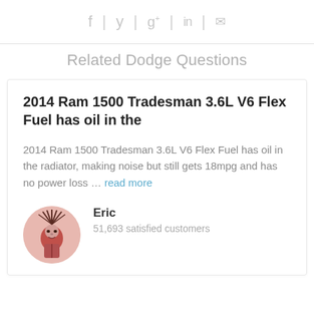[Figure (infographic): Social sharing icons: Facebook, Twitter, Google+, LinkedIn, Email, separated by vertical bars]
Related Dodge Questions
2014 Ram 1500 Tradesman 3.6L V6 Flex Fuel has oil in the
2014 Ram 1500 Tradesman 3.6L V6 Flex Fuel has oil in the radiator, making noise but still gets 18mpg and has no power loss … read more
Eric
51,693 satisfied customers